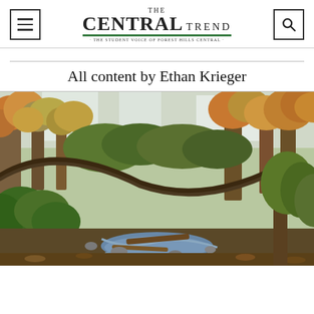The Central Trend — THE STUDENT VOICE OF FOREST HILLS CENTRAL
All content by Ethan Krieger
[Figure (photo): Autumn forest scene with a creek, fallen trees, and colorful foliage. A large branch arcs across the scene from left to right over the stream below.]